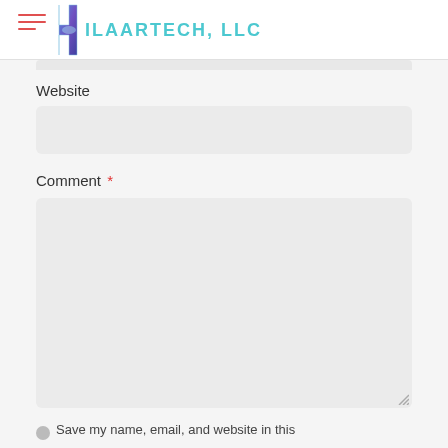[Figure (logo): HilaarTech, LLC logo with stylized 'H' icon in blue/purple gradient and teal text, with red hamburger menu icon on the left]
Website
Comment *
Save my name, email, and website in this